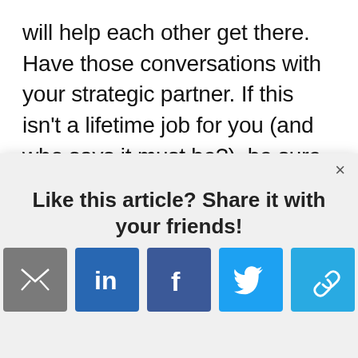will help each other get there. Have those conversations with your strategic partner. If this isn't a lifetime job for you (and who says it must be?), be sure to be willing to have those conversations with your strategic partner. Be comfortable speaking about what your next
[Figure (screenshot): A modal popup dialog with a close (×) button in the top right. It contains the heading 'Like this article? Share it with your friends!' and five social sharing icon buttons: email (grey envelope), LinkedIn (blue 'in'), Facebook (dark blue 'f'), Twitter (blue bird), and a link/share icon (light blue chain links).]